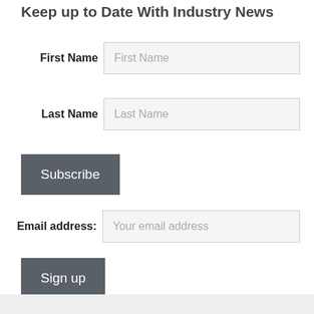Keep up to Date With Industry News
First Name [input field]
Last Name [input field]
Subscribe [button]
Email address: [input field]
Sign up [button]